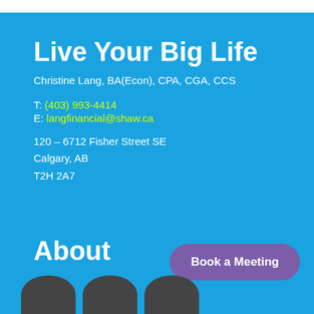Live Your Big Life
Christine Lang, BA(Econ), CPA, CGA, CCS
T: (403) 993-4414
E: langfinancial@shaw.ca
120 – 6712 Fisher Street SE
Calgary, AB
T2H 2A7
About
Book a Meeting